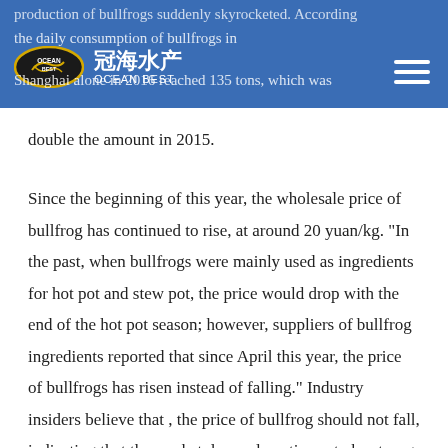production of bullfrogs suddenly skyrocketed. According the daily consumption of bullfrogs in Shanghai alone in 2016 reached 135 tons, which was double the amount in 2015.
double the amount in 2015.
Since the beginning of this year, the wholesale price of bullfrog has continued to rise, at around 20 yuan/kg. "In the past, when bullfrogs were mainly used as ingredients for hot pot and stew pot, the price would drop with the end of the hot pot season; however, suppliers of bullfrog ingredients reported that since April this year, the price of bullfrogs has risen instead of falling." Industry insiders believe that , the price of bullfrog should not fall, indicating that the market demand continues to be strong.